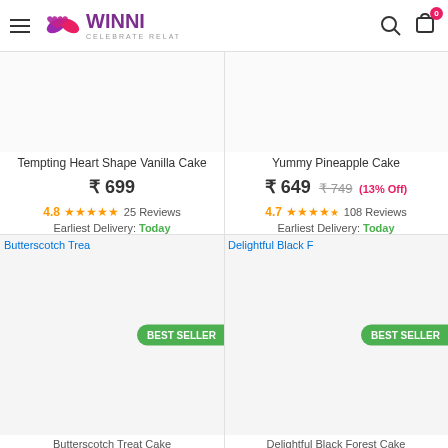[Figure (logo): Winni - Celebrate Relations logo with heart-shaped icon in purple/pink gradient]
Tempting Heart Shape Vanilla Cake
₹ 699
4.8★★★★★ 25 Reviews
Earliest Delivery: Today
Yummy Pineapple Cake
₹ 649  ₹ 749  (13% Off)
4.7★★★★★ 108 Reviews
Earliest Delivery: Today
[Figure (photo): Butterscotch Treat Cake product image with BEST SELLER badge]
[Figure (photo): Delightful Black Forest Cake product image with BEST SELLER badge]
Butterscotch Treat Cake
Delightful Black Forest Cake